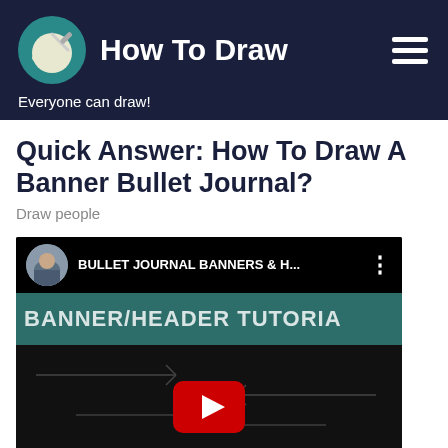How To Draw — Everyone can draw!
Quick Answer: How To Draw A Banner Bullet Journal?
Draw people
[Figure (screenshot): YouTube video thumbnail showing 'BULLET JOURNAL BANNERS & H...' with a teal background displaying 'BANNER/HEADER TUTORIAL' text, and a YouTube play button in the center.]